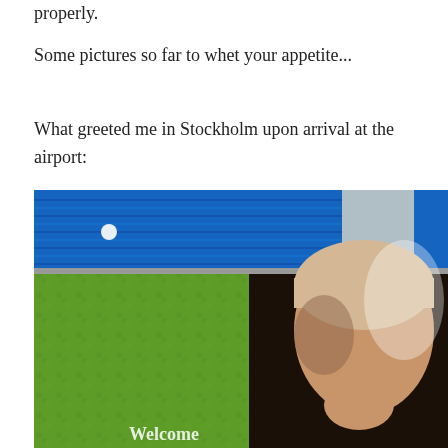properly.
Some pictures so far to whet your appetite...
What greeted me in Stockholm upon arrival at the airport:
[Figure (photo): Airport interior photo showing blue striped ceiling/wall panels on top half, and a large advertising display on bottom half featuring a green textured background on the left side and a model's face on the right side with the word 'Welcome' at the bottom.]